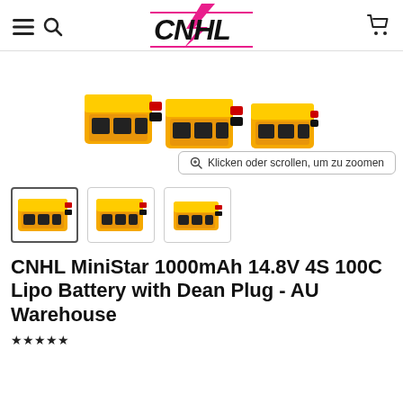CNHL store navigation header with hamburger menu, search icon, CNHL logo, and cart icon
[Figure (logo): CNHL logo with pink lightning bolt and bold black text on white background]
[Figure (photo): Product area showing CNHL MiniStar LiPo batteries in yellow and orange, with zoom prompt overlay]
Klicken oder scrollen, um zu zoomen
[Figure (photo): Thumbnail strip with three CNHL MiniStar battery images; first thumbnail selected with border]
CNHL MiniStar 1000mAh 14.8V 4S 100C Lipo Battery with Dean Plug - AU Warehouse